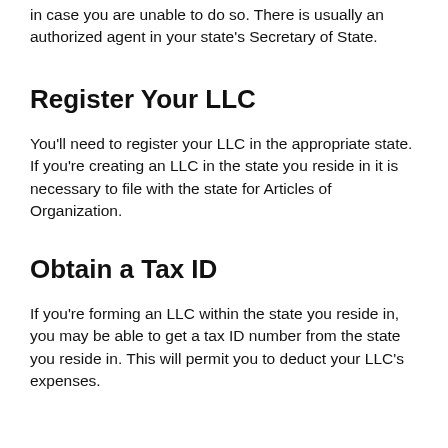in case you are unable to do so. There is usually an authorized agent in your state's Secretary of State.
Register Your LLC
You'll need to register your LLC in the appropriate state. If you're creating an LLC in the state you reside in it is necessary to file with the state for Articles of Organization.
Obtain a Tax ID
If you're forming an LLC within the state you reside in, you may be able to get a tax ID number from the state you reside in. This will permit you to deduct your LLC's expenses.